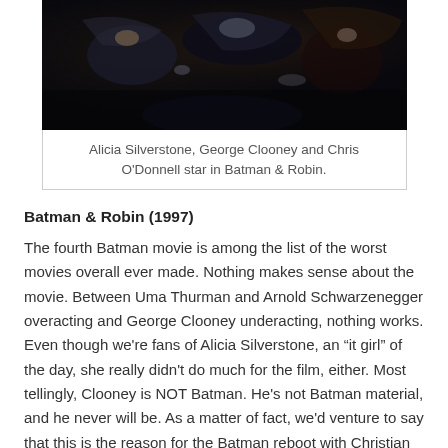[Figure (photo): Dark image showing Batman & Robin movie scene with characters in armor]
Alicia Silverstone, George Clooney and Chris O'Donnell star in Batman & Robin.
Batman & Robin (1997)
The fourth Batman movie is among the list of the worst movies overall ever made. Nothing makes sense about the movie. Between Uma Thurman and Arnold Schwarzenegger overacting and George Clooney underacting, nothing works. Even though we're fans of Alicia Silverstone, an “it girl” of the day, she really didn't do much for the film, either. Most tellingly, Clooney is NOT Batman. He's not Batman material, and he never will be. As a matter of fact, we'd venture to say that this is the reason for the Batman reboot with Christian Bale. Clooney, an OK actor otherwise, will forever be known as the man who ran Batman into the ground.